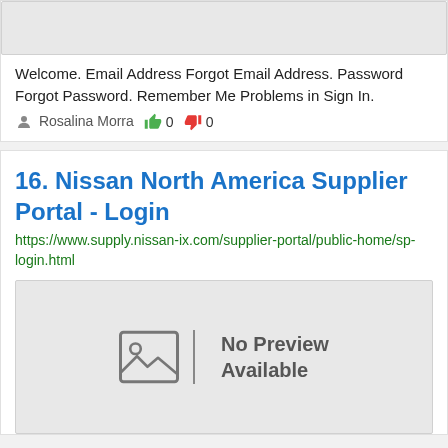[Figure (screenshot): Gray placeholder image at top of first card]
Welcome. Email Address Forgot Email Address. Password Forgot Password. Remember Me Problems in Sign In.
Rosalina Morra  👍 0  👎 0
16. Nissan North America Supplier Portal - Login
https://www.supply.nissan-ix.com/supplier-portal/public-home/sp-login.html
[Figure (screenshot): No Preview Available placeholder image]